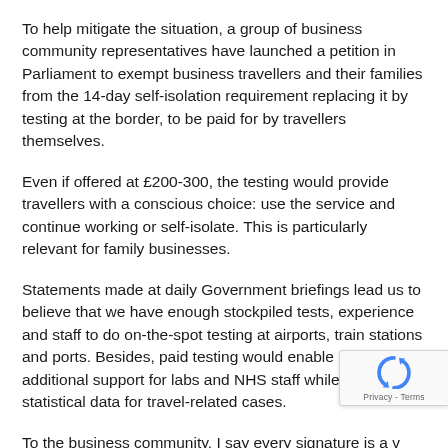To help mitigate the situation, a group of business community representatives have launched a petition in Parliament to exempt business travellers and their families from the 14-day self-isolation requirement replacing it by testing at the border, to be paid for by travellers themselves.
Even if offered at £200-300, the testing would provide travellers with a conscious choice: use the service and continue working or self-isolate. This is particularly relevant for family businesses.
Statements made at daily Government briefings lead us to believe that we have enough stockpiled tests, experience and staff to do on-the-spot testing at airports, train stations and ports. Besides, paid testing would enable us to secure additional support for labs and NHS staff while improving statistical data for travel-related cases.
To the business community, I say every signature is a vote for your businesses and freedom of movement. To the wider nation, I say every signature is a vote to save our economy.